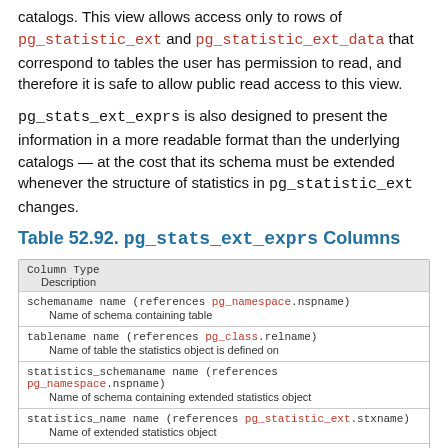catalogs. This view allows access only to rows of pg_statistic_ext and pg_statistic_ext_data that correspond to tables the user has permission to read, and therefore it is safe to allow public read access to this view.
pg_stats_ext_exprs is also designed to present the information in a more readable format than the underlying catalogs — at the cost that its schema must be extended whenever the structure of statistics in pg_statistic_ext changes.
Table 52.92. pg_stats_ext_exprs Columns
| Column Type | Description |
| --- | --- |
| schemaname name (references pg_namespace.nspname) | Name of schema containing table |
| tablename name (references pg_class.relname) | Name of table the statistics object is defined on |
| statistics_schemaname name (references pg_namespace.nspname) | Name of schema containing extended statistics object |
| statistics_name name (references pg_statistic_ext.stxname) | Name of extended statistics object |
| statistics_owner name (references pg_authid.rolname) | Owner of the extended statistics object |